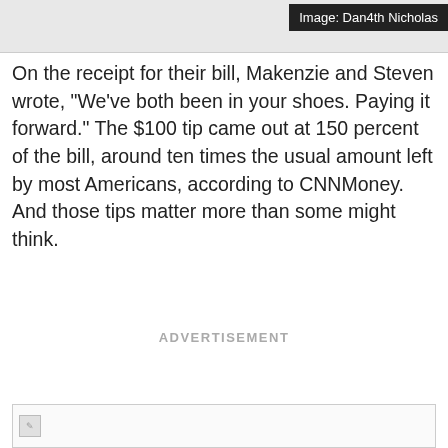[Figure (other): Partially visible image at top of page with dark caption bar reading 'Image: Dan4th Nicholas']
Image: Dan4th Nicholas
On the receipt for their bill, Makenzie and Steven wrote, "We've both been in your shoes. Paying it forward." The $100 tip came out at 150 percent of the bill, around ten times the usual amount left by most Americans, according to CNNMoney. And those tips matter more than some might think.
ADVERTISEMENT
[Figure (other): Broken image placeholder at bottom of page]